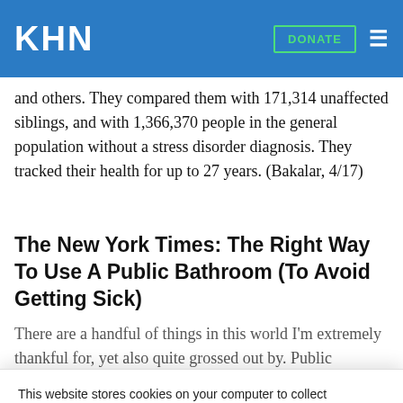KHN  DONATE
and others. They compared them with 171,314 unaffected siblings, and with 1,366,370 people in the general population without a stress disorder diagnosis. They tracked their health for up to 27 years. (Bakalar, 4/17)
The New York Times: The Right Way To Use A Public Bathroom (To Avoid Getting Sick)
There are a handful of things in this world I'm extremely thankful for, yet also quite grossed out by. Public bathrooms are
This website stores cookies on your computer to collect information about how you interact with our website. We use this information in order to improve and customize your browsing experience and for analytics and metrics about our visitors both on this website and other media. To find out more about the cookies we use, see our Privacy Policy.